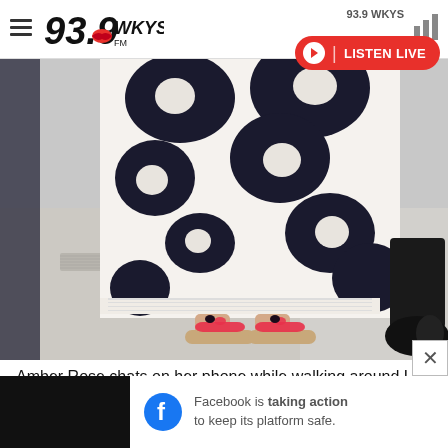93.9 WKYS — navigation bar with logo, station name, and Listen Live button
[Figure (photo): Close-up photo of a person wearing a black and white tie-dye maxi dress and pink platform sandals, walking on a sidewalk in Los Angeles. Another person's black shoe is visible on the right edge.]
Amber Rose chats on her phone while walking around Los Angeles on April 14.
[Figure (screenshot): Facebook advertisement banner: 'Facebook is taking action to keep its platform safe.' with Facebook logo icon on dark background.]